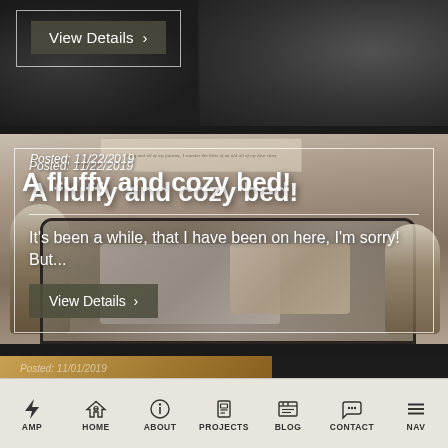[Figure (screenshot): Top portion of a dark bedroom photo with a 'View Details >' button overlay]
[Figure (photo): Cozy bedroom with metal bed frame, grey pillows, flannel bedding, lamps, and decorative plants. Overlaid blog post card with white border.]
Posted: 11/22/2019
A fluffy and cozy bed!
It's been a while, that I have been on here, I'm sorry! But...
[Figure (photo): Partial bottom section showing a wooden furniture/table photo and a partially visible blog card with 'Posted: 11/01/2019']
Posted: 11/01/2019
AMP HOME ABOUT PROJECTS BLOG CONTACT NAV